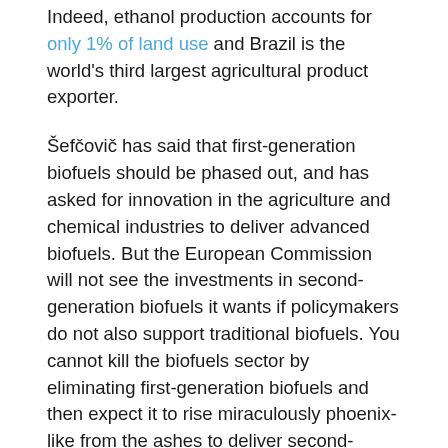Indeed, ethanol production accounts for only 1% of land use and Brazil is the world's third largest agricultural product exporter.
Šefčovič has said that first-generation biofuels should be phased out, and has asked for innovation in the agriculture and chemical industries to deliver advanced biofuels. But the European Commission will not see the investments in second-generation biofuels it wants if policymakers do not also support traditional biofuels. You cannot kill the biofuels sector by eliminating first-generation biofuels and then expect it to rise miraculously phoenix-like from the ashes to deliver second-generation fuels.
If Europe is to achieve its ambitious targets and reduce its reliance on fossil fuels in